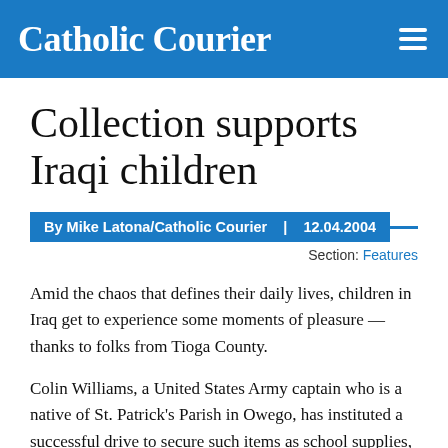Catholic Courier
Collection supports Iraqi children
By Mike Latona/Catholic Courier  |  12.04.2004
Section: Features
Amid the chaos that defines their daily lives, children in Iraq get to experience some moments of pleasure — thanks to folks from Tioga County.
Colin Williams, a United States Army captain who is a native of St. Patrick's Parish in Owego, has instituted a successful drive to secure such items as school supplies, soccer balls, individually wrapped candies and small toys for the children of Al-Romadi, Iraq. The effort is coordinated through